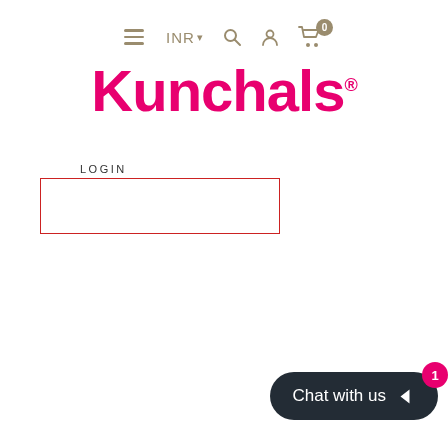[Figure (screenshot): Navigation bar with hamburger menu icon, INR currency selector with dropdown arrow, search icon, user account icon, and shopping cart icon with 0 badge]
[Figure (logo): Kunchals brand logo in bold pink/magenta cursive font with registered trademark symbol]
Login
[Figure (screenshot): Login form input box with red border outline]
[Figure (screenshot): Chat with us widget button in dark background with pink badge showing number 1]